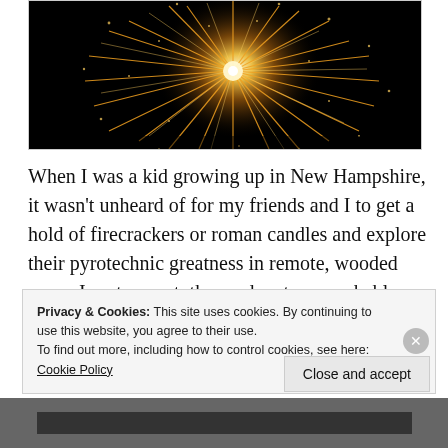[Figure (photo): Fireworks explosion with golden sparks radiating outward against a black night sky]
When I was a kid growing up in New Hampshire, it wasn't unheard of for my friends and I to get a hold of firecrackers or roman candles and explore their pyrotechnic greatness in remote, wooded areas. In retrospect, these adventures probably weren't a great idea for a number of reasons (but watching dead stumps
Privacy & Cookies: This site uses cookies. By continuing to use this website, you agree to their use.
To find out more, including how to control cookies, see here: Cookie Policy
Close and accept